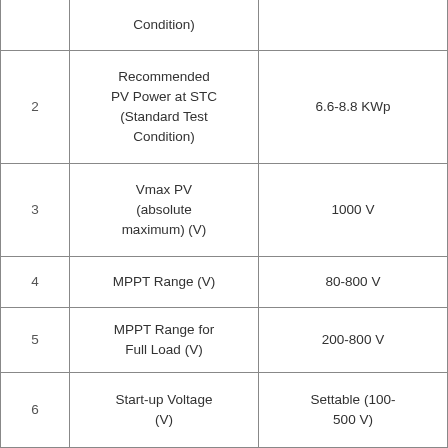| No. | Parameter | Value |
| --- | --- | --- |
|  | Condition) |  |
| 2 | Recommended PV Power at STC (Standard Test Condition) | 6.6-8.8 KWp |
| 3 | Vmax PV (absolute maximum) (V) | 1000 V |
| 4 | MPPT Range (V) | 80-800 V |
| 5 | MPPT Range for Full Load (V) | 200-800 V |
| 6 | Start-up Voltage (V) | Settable (100-500 V) |
| 7 | Nominal Input DC Voltage (V) | 500 V |